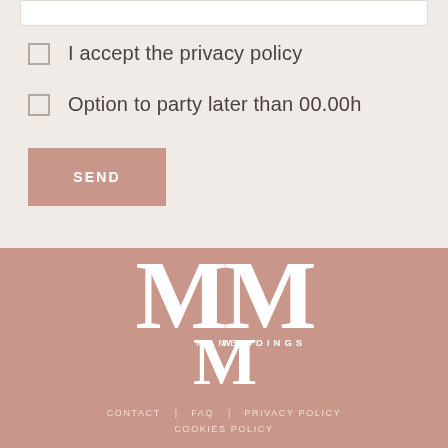I accept the privacy policy
Option to party later than 00.00h
SEND
[Figure (logo): Mambo Weddings logo — large white stylized double-M lettermark with 'MAMBO WEDDINGS' text below, on dusty pink background]
CONTACT   FAQ   PRIVACY POLICY   COOKIES POLICY